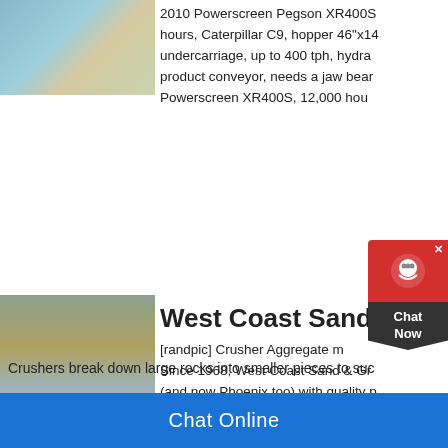[Figure (photo): Powerscreen crusher machine working on white/light aggregate material]
2010 Powerscreen Pegson XR400S hours, Caterpillar C9, hopper 46"x14 undercarriage, up to 400 tph, hydra product conveyor, needs a jaw bear Powerscreen XR400S, 12,000 hou
[Figure (photo): Collage of construction site images showing crushers, excavators, and aggregate piles]
West Coast Sand a B
[randpic] Crusher Aggregate m Since 1968, West Coast Sand & Gr (and now Phoenix too) with quality p start, we have grown to thirteen loca product offerings from construction a such as dirt import and export servic and
Crushers break down large rocks into smaller pieces to suc
[Figure (screenshot): Chat widget overlay with red icon area and dark Chat Now button]
Chat Online